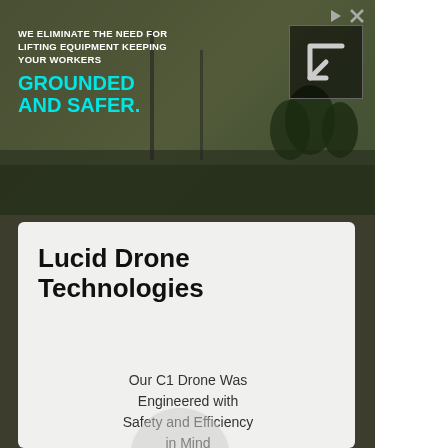[Figure (photo): Outdoor advertisement banner with workers/equipment in background. Text reads: WE ELIMINATE THE NEED FOR LIFTING EQUIPMENT KEEPING YOUR WORKERS in white, followed by GROUNDED AND SAFER. in cyan/teal bold text. A dark arrow/logo box is in the upper right of the banner.]
Lucid Drone Technologies
Our C1 Drone Was Engineered with Safety and Efficiency in Mind